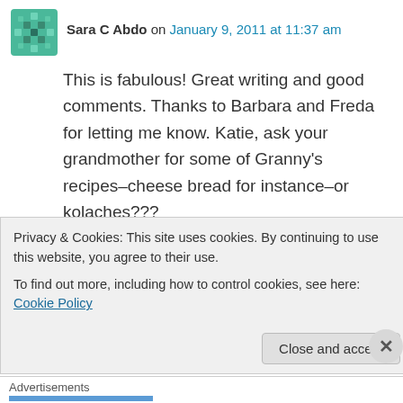Sara C Abdo on January 9, 2011 at 11:37 am
This is fabulous! Great writing and good comments. Thanks to Barbara and Freda for letting me know. Katie, ask your grandmother for some of Granny’s recipes–cheese bread for instance–or kolaches???
Love, Carol
↪ Reply
Freda Montgomery on January 9, 2011 at 1:42 pm
Privacy & Cookies: This site uses cookies. By continuing to use this website, you agree to their use.
To find out more, including how to control cookies, see here: Cookie Policy
Close and accept
Advertisements